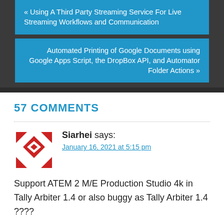« Using A Third Party Streaming Service For Live Streaming Workflows and Communication
Automated Printing of Google Documents using Google Apps Script, the DropBox API, and Automator Folder Actions »
57 COMMENTS
[Figure (logo): Red and white geometric/diamond pattern logo icon]
Siarhei says:
January 16, 2021 at 5:15 pm
Support ATEM 2 M/E Production Studio 4k in Tally Arbiter 1.4 or also buggy as Tally Arbiter 1.4 ????